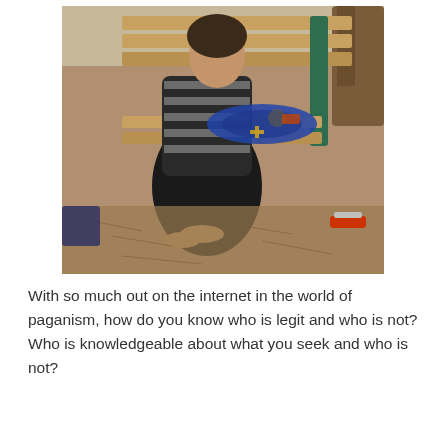[Figure (photo): A person wearing a black and white striped cardigan and black pants sits barefoot on a wooden park bench outdoors. A blue cloth with items on it rests on the bench beside them. The ground is covered with dry leaves and straw. A tree trunk is visible in the upper right.]
With so much out on the internet in the world of paganism, how do you know who is legit and who is not? Who is knowledgeable about what you seek and who is not?